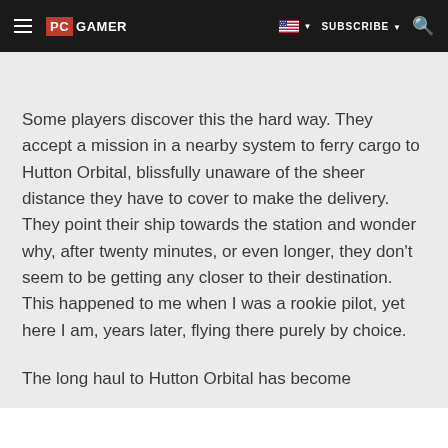PC GAMER | SUBSCRIBE
Some players discover this the hard way. They accept a mission in a nearby system to ferry cargo to Hutton Orbital, blissfully unaware of the sheer distance they have to cover to make the delivery. They point their ship towards the station and wonder why, after twenty minutes, or even longer, they don't seem to be getting any closer to their destination. This happened to me when I was a rookie pilot, yet here I am, years later, flying there purely by choice.
The long haul to Hutton Orbital has become